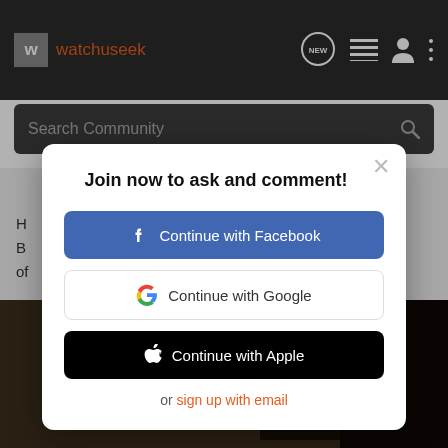watchuseek
Search Community
BOSPHORUS
H
B
of
Join now to ask and comment!
Continue with Facebook
Continue with Google
Continue with Apple
or sign up with email